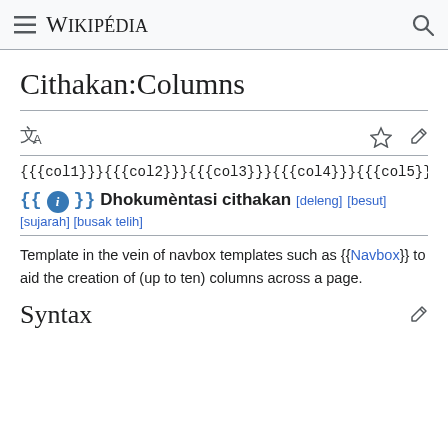≡ WIKIPÉDIA 🔍
Cithakan:Columns
{{{col1}}}{{{col2}}}{{{col3}}}{{{col4}}}{{{col5}}}{{{col6}}}{{{col7…
{{ℹ}} Dhokumèntasi cithakan [deleng] [besut] [sujarah] [busak telih]
Template in the vein of navbox templates such as {{Navbox}} to aid the creation of (up to ten) columns across a page.
Syntax